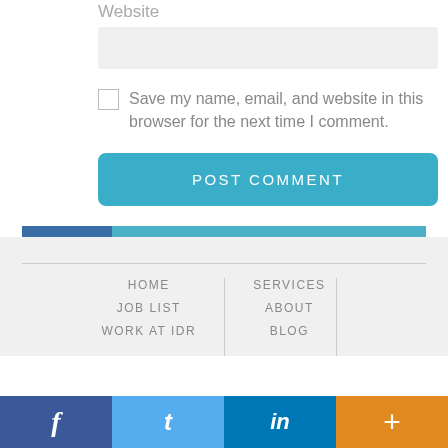Website
Save my name, email, and website in this browser for the next time I comment.
POST COMMENT
HOME | SERVICES | JOB LIST | ABOUT | WORK AT IDR | BLOG
f  t  in  +